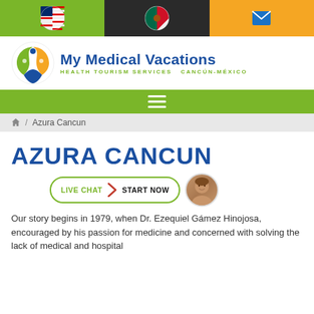Top navigation bar with US flag, Mexico flag, and email icon
[Figure (logo): My Medical Vacations logo — circular design with orange, green, blue figures and text 'My Medical Vacations / Health Tourism Services Cancún-México']
Navigation menu bar (hamburger icon)
Breadcrumb: Home / Azura Cancun
AZURA CANCUN
[Figure (infographic): Live Chat | START NOW button with female avatar]
Our story begins in 1979, when Dr. Ezequiel Gámez Hinojosa, encouraged by his passion for medicine and concerned with solving the lack of medical and hospital